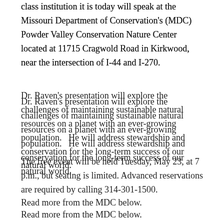class institution it is today will speak at the Missouri Department of Conservation's (MDC) Powder Valley Conservation Nature Center located at 11715 Cragwold Road in Kirkwood, near the intersection of I-44 and I-270.
Dr. Raven's presentation will explore the challenges of maintaining sustainable natural resources on a planet with an ever-growing population.   He will address stewardship and conservation for the long-term success of our natural world.
The free event will be held Tuesday, May 23, at 7 p.m., but seating is limited. Advanced reservations are required by calling 314-301-1500.
Read more from the MDC below.